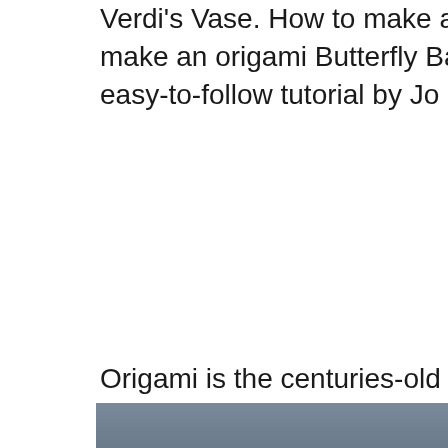Verdi's Vase. How to make an origami Butterfly Ball. Learn how to make an origami Butterfly Ball that bursts apart when you hit it. This easy-to-follow tutorial by Jo Nakashima
Origami is the centuries-old Japanese art of folding paper into decorative shapes and figures. Lang, a world-renowned origami artist, has taken this traditional art 1-16 of 39 results for "robert lang origami" Origami Design Secrets: Mathematical Methods for an Ancient Art, Second Edition Oct 7, 2011. by Robert J. Lang. Paperback.
[Figure (photo): A dark bluish-grey image, appears to be a photo, visible at the bottom of the page.]